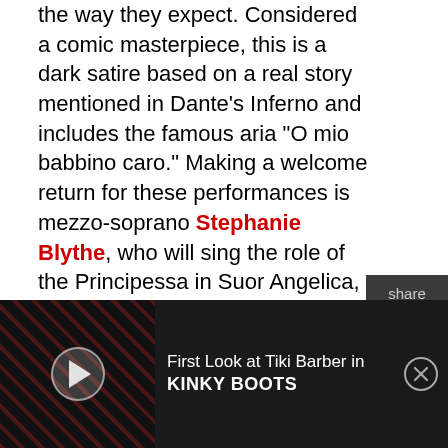the way they expect. Considered a comic masterpiece, this is a dark satire based on a real story mentioned in Dante's Inferno and includes the famous aria "O mio babbino caro." Making a welcome return for these performances is mezzo-soprano Stephanie Blythe, who will sing the role of the Principessa in Suor Angelica, and will take on the title role of Gianni Schicchi, a role traditionally sung by a baritone. "I started thinking about singing the role the last time I sang in Il Trittico at the Metropolitan Opera," shares Stephanie Blythe. "I have sung in that show so many times, that I can sing most of the roles from memory. I just found myself singing a lot of Schicchi's music, and it gave
[Figure (screenshot): Social share sidebar with Twitter and Facebook icons on dark background]
[Figure (screenshot): Advertisement bar: First Look at Tiki Barber in KINKY BOOTS, with video thumbnail showing red-lit stage set and play button]